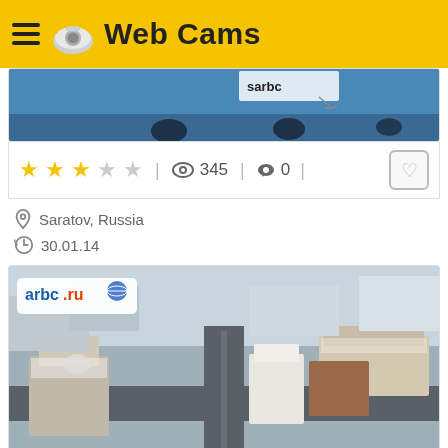Web Cams
[Figure (screenshot): Partial webcam image showing a blue-tinted scene with 'sarbc' watermark (card 1, top portion)]
★★★☆☆  ◎ 345  ● 0
Saratov, Russia
30.01.14
[Figure (screenshot): Aerial webcam image of Saratov city streets and buildings in winter, with 'arbc.ru' watermark]
★★★★☆  ◎ 287  ● 0